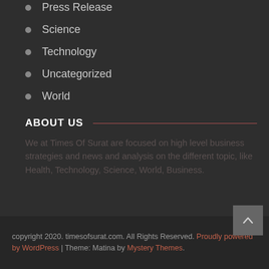Press Release
Science
Technology
Uncategorized
World
ABOUT US
We at Times Of Surat are focused on high level business strategies and news and analysis on the different topic, like Health, Technology, Science, World, Business.
copyright 2020. timesofsurat.com. All Rights Reserved. Proudly powered by WordPress | Theme: Matina by Mystery Themes.